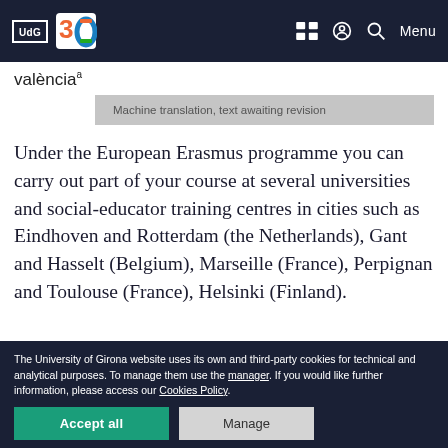UdG | 30 [logo] | [icons] Menu
valència
Machine translation, text awaiting revision
Under the European Erasmus programme you can carry out part of your course at several universities and social-educator training centres in cities such as Eindhoven and Rotterdam (the Netherlands), Gant and Hasselt (Belgium), Marseille (France), Perpignan and Toulouse (France), Helsinki (Finland).
The University of Girona website uses its own and third-party cookies for technical and analytical purposes. To manage them use the manager. If you would like further information, please access our Cookies Policy.
Accept all | Manage